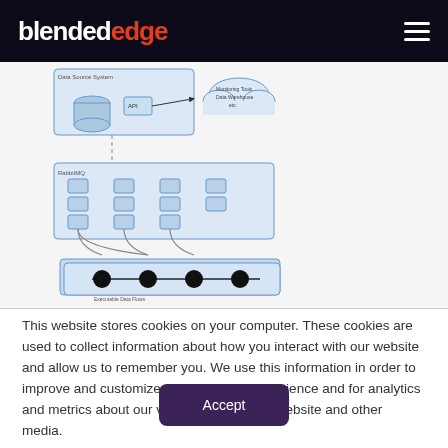blendededge
[Figure (engineering-diagram): Architecture diagram showing a database/API layer at top connecting via arrow to a cloud labeled 'Monitoring Tools Data Warehouse etc', with a dashed line down to a RabbitMQ grid of 3x4 message queue boxes, then curved lines connecting down to an Executable Data Flows layer showing 4 dark nodes connected in a sequence on stacked blue panels.]
This website stores cookies on your computer. These cookies are used to collect information about how you interact with our website and allow us to remember you. We use this information in order to improve and customize your browsing experience and for analytics and metrics about our visitors both on this website and other media.
Accept